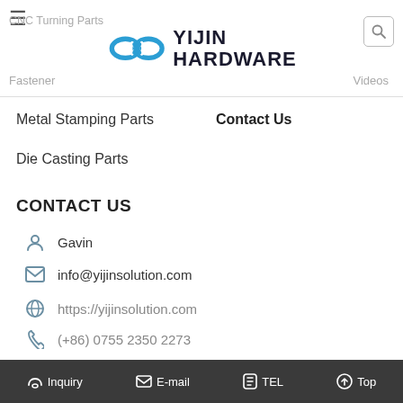YIJIN HARDWARE — navigation header with logo, hamburger menu, CNC Turning Parts, Fastener, Videos, search icon
Metal Stamping Parts
Contact Us
Die Casting Parts
CONTACT US
Gavin
info@yijinsolution.com
https://yijinsolution.com
(+86) 0755 2350 2273
Address: 105, Building 11, Block B Xueziwei, Yabian Community, Shajing Street, Baoan District, Shenzhen
Inquiry   E-mail   TEL   Top